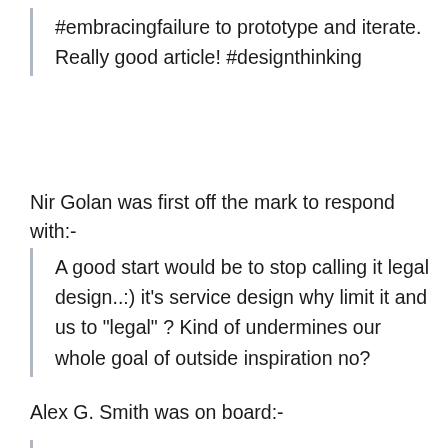#embracingfailure to prototype and iterate.
Really good article! #designthinking
Nir Golan was first off the mark to respond with:-
A good start would be to stop calling it legal design..:) it’s service design why limit it and us to “legal” ? Kind of undermines our whole goal of outside inspiration no?
Alex G. Smith was on board:-